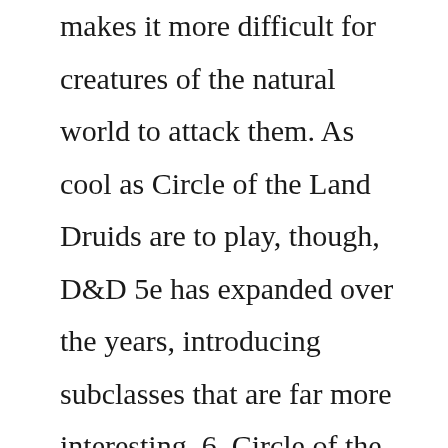makes it more difficult for creatures of the natural world to attack them. As cool as Circle of the Land Druids are to play, though, D&D 5e has expanded over the years, introducing subclasses that are far more interesting. 6. Circle of the Shepherd. Druids in the Circle of the Shepherd share a deep bond with the ...Grave Domain. Gods of the grave watch over the line between life and death. To these deities, death and the afterlife are a foundational part of the